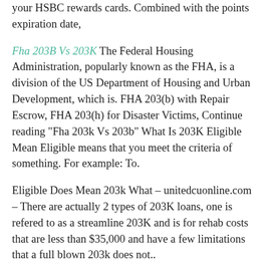your HSBC rewards cards. Combined with the points expiration date,
Fha 203B Vs 203K The Federal Housing Administration, popularly known as the FHA, is a division of the US Department of Housing and Urban Development, which is. FHA 203(b) with Repair Escrow, FHA 203(h) for Disaster Victims, Continue reading "Fha 203k Vs 203b" What Is 203K Eligible Mean Eligible means that you meet the criteria of something. For example: To.
Eligible Does Mean 203k What – unitedcuonline.com – There are actually 2 types of 203K loans, one is refered to as a streamline 203K and is for rehab costs that are less than $35,000 and have a few limitations that a full blown 203k does not..
Eligible Does Mean 203k What – unitedcuonline.com – There are actually 2 types of 203K loans, one is refered to as a streamline 203K and is for rehab costs that are less than $35,000 and have a few limitations that a full blown 203k does not..
The streamlined 203(k) program is meant for homes that don't need structural repairs. These loans are capped at a maximum of $35,000 in repairs. No minimum amount of repairs must be made.